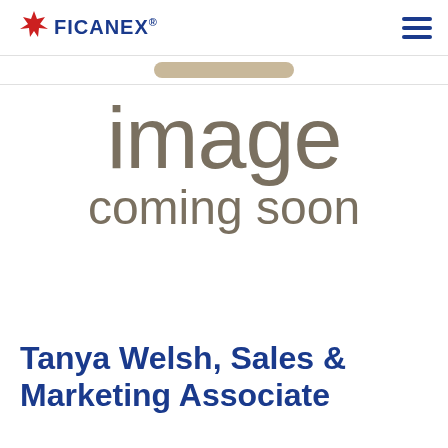FICANEX®
[Figure (other): Image coming soon placeholder with grey text reading 'image coming soon' on white background]
Tanya Welsh, Sales & Marketing Associate